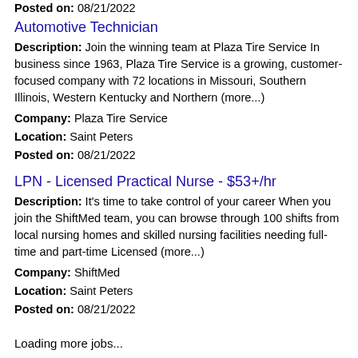Posted on: 08/21/2022
Automotive Technician
Description: Join the winning team at Plaza Tire Service In business since 1963, Plaza Tire Service is a growing, customer-focused company with 72 locations in Missouri, Southern Illinois, Western Kentucky and Northern (more...) Company: Plaza Tire Service Location: Saint Peters Posted on: 08/21/2022
LPN - Licensed Practical Nurse - $53+/hr
Description: It's time to take control of your career When you join the ShiftMed team, you can browse through 100 shifts from local nursing homes and skilled nursing facilities needing full-time and part-time Licensed (more...) Company: ShiftMed Location: Saint Peters Posted on: 08/21/2022
Loading more jobs...
Log In or Create An Account